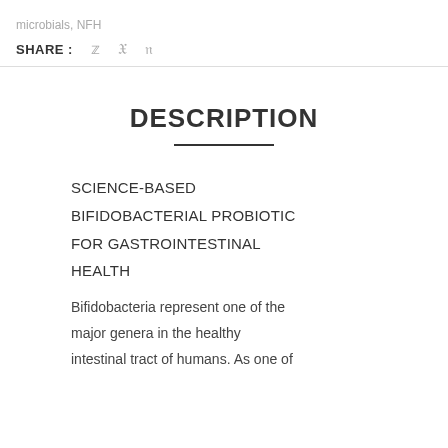microbials, NFH
SHARE :
DESCRIPTION
SCIENCE-BASED BIFIDOBACTERIAL PROBIOTIC FOR GASTROINTESTINAL HEALTH
Bifidobacteria represent one of the major genera in the healthy intestinal tract of humans. As one of